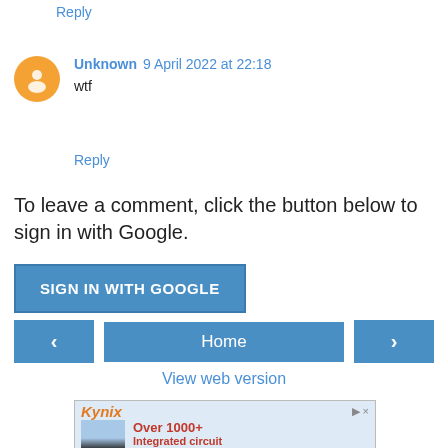Reply
Unknown  9 April 2022 at 22:18
wtf
Reply
To leave a comment, click the button below to sign in with Google.
SIGN IN WITH GOOGLE
Home
View web version
[Figure (screenshot): Kynix advertisement banner with logo, 'Over 1000+' text in red, and 'Integrated circuit' text in red, with a chip image on a blue background.]